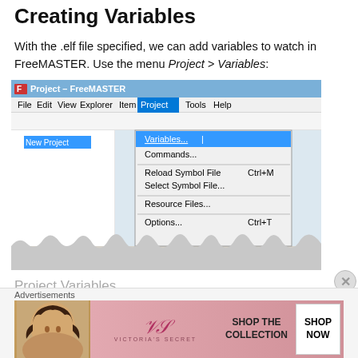Creating Variables
With the .elf file specified, we can add variables to watch in FreeMASTER. Use the menu Project > Variables:
[Figure (screenshot): FreeMASTER application window showing the Project menu open with Variables... highlighted in blue, along with other menu items: Commands..., Reload Symbol File (Ctrl+M), Select Symbol File..., Resource Files..., Options... (Ctrl+T). The left panel shows 'New Project'.]
Project Variables
Adding a list of variables to watch...